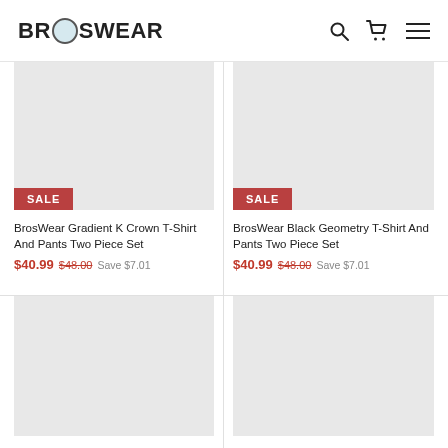BrosWear
[Figure (photo): Product image placeholder for BrosWear Gradient K Crown T-Shirt And Pants Two Piece Set, light gray background with SALE badge]
BrosWear Gradient K Crown T-Shirt And Pants Two Piece Set
$40.99 $48.00 Save $7.01
[Figure (photo): Product image placeholder for BrosWear Black Geometry T-Shirt And Pants Two Piece Set, light gray background with SALE badge]
BrosWear Black Geometry T-Shirt And Pants Two Piece Set
$40.99 $48.00 Save $7.01
[Figure (photo): Product image placeholder, bottom left, light gray background]
[Figure (photo): Product image placeholder, bottom right, light gray background]